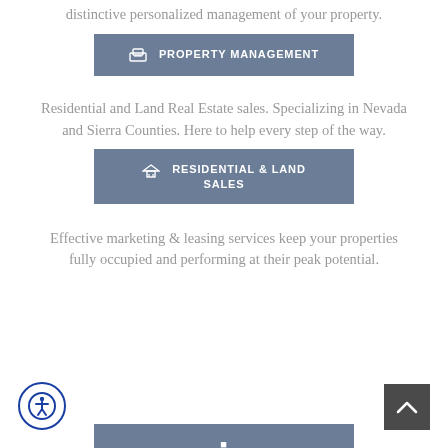distinctive personalized management of your property.
PROPERTY MANAGEMENT
Residential and Land Real Estate sales. Specializing in Nevada and Sierra Counties. Here to help every step of the way.
RESIDENTIAL & LAND SALES
Effective marketing & leasing services keep your properties fully occupied and performing at their peak potential.